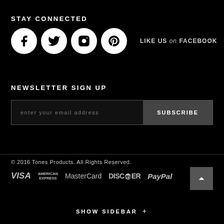STAY CONNECTED
[Figure (infographic): Four circular social media icons (Facebook, Twitter, Instagram, Pinterest) on white circles with black background, followed by 'LIKE US on FACEBOOK' text]
NEWSLETTER SIGN UP
[Figure (infographic): Email subscription form with text input 'enter your email address' and SUBSCRIBE button]
© 2016 Tones Products. All Rights Reserved. VISA AMERICAN EXPRESS MasterCard DISCOVER PayPal
SHOW SIDEBAR +